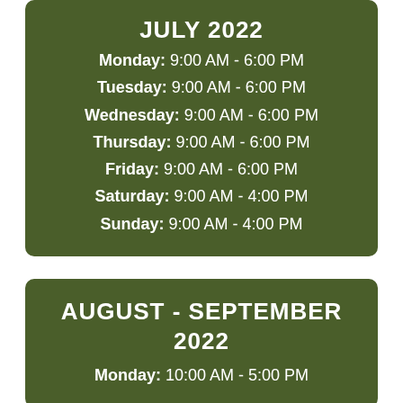JULY 2022
Monday: 9:00 AM - 6:00 PM
Tuesday: 9:00 AM - 6:00 PM
Wednesday: 9:00 AM - 6:00 PM
Thursday: 9:00 AM - 6:00 PM
Friday: 9:00 AM - 6:00 PM
Saturday: 9:00 AM - 4:00 PM
Sunday: 9:00 AM - 4:00 PM
AUGUST - SEPTEMBER 2022
Monday: 10:00 AM - 5:00 PM